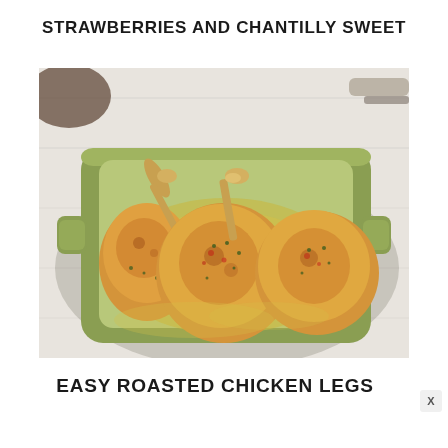STRAWBERRIES AND CHANTILLY SWEET
[Figure (photo): Three roasted chicken legs in a green ceramic baking dish with herbs and golden pan juices, photographed from above on a white wooden surface.]
EASY ROASTED CHICKEN LEGS